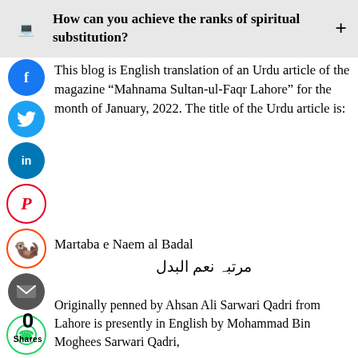How can you achieve the ranks of spiritual substitution?
This blog is English translation of an Urdu article of the magazine “Mahnama Sultan-ul-Faqr Lahore” for the month of January, 2022. The title of the Urdu article is:
Martaba e Naem al Badal
مرتبہ نعم البدل
Originally penned by Ahsan Ali Sarwari Qadri from Lahore is presently in English by Mohammad Bin Moghees Sarwari Qadri,